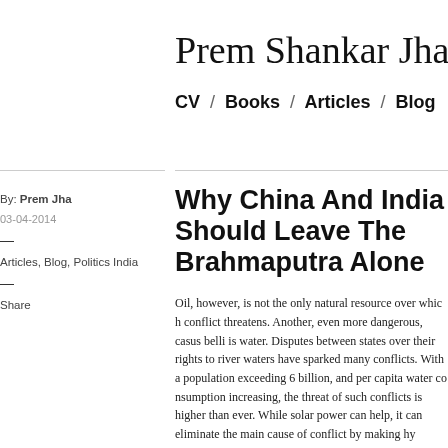Prem Shankar Jha
CV / Books / Articles / Blog
By: Prem Jha
03-04-2014
—
Articles, Blog, Politics India
—
Share
Why China And India Should Leave The Brahmaputra Alone
Oil, however, is not the only natural resource over which conflict threatens. Another, even more dangerous, casus belli is water. Disputes between states over their rights to river waters have sparked many conflicts. With a population exceeding 6 billion, and per capita water consumption increasing, the threat of such conflicts is higher than ever. While solar power can help, it can eliminate the main cause of conflict by making hydroelectric dams — this by providing peak power far more cheaply, rapidly, and cleanly than dams or run-of-the-river power plants. Nowhere would the be